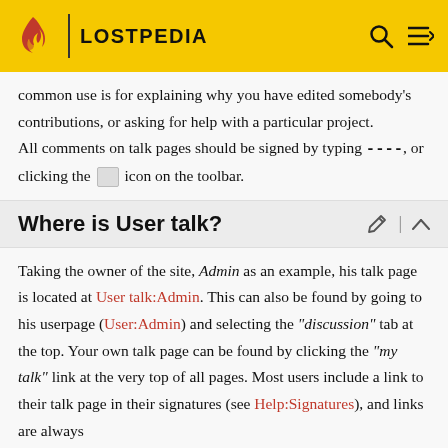LOSTPEDIA
common use is for explaining why you have edited somebody's contributions, or asking for help with a particular project. All comments on talk pages should be signed by typing ----, or clicking the icon on the toolbar.
Where is User talk?
Taking the owner of the site, Admin as an example, his talk page is located at User talk:Admin. This can also be found by going to his userpage (User:Admin) and selecting the "discussion" tab at the top. Your own talk page can be found by clicking the "my talk" link at the very top of all pages. Most users include a link to their talk page in their signatures (see Help:Signatures), and links are always